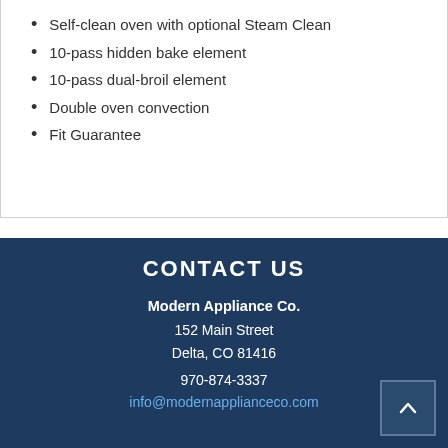Self-clean oven with optional Steam Clean
10-pass hidden bake element
10-pass dual-broil element
Double oven convection
Fit Guarantee
CONTACT US
Modern Appliance Co.
152 Main Street
Delta, CO 81416
970-874-3337
info@modernapplianceco.com